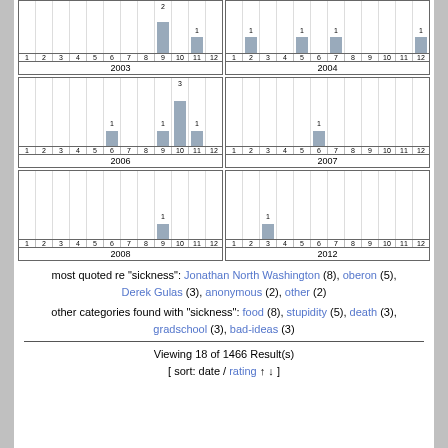[Figure (bar-chart): 2003]
[Figure (bar-chart): 2004]
[Figure (bar-chart): 2006]
[Figure (bar-chart): 2007]
[Figure (bar-chart): 2008]
[Figure (bar-chart): 2012]
most quoted re "sickness": Jonathan North Washington (8), oberon (5), Derek Gulas (3), anonymous (2), other (2)
other categories found with "sickness": food (8), stupidity (5), death (3), gradschool (3), bad-ideas (3)
Viewing 18 of 1466 Result(s)
[ sort: date / rating ↑ ↓ ]